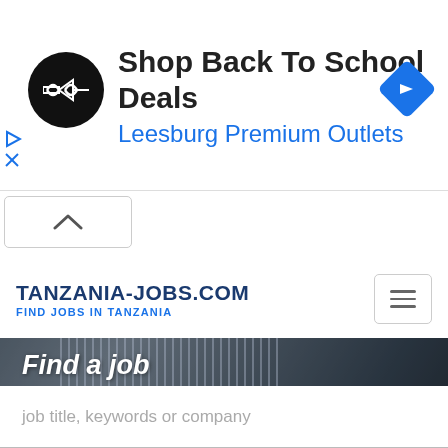[Figure (screenshot): Advertisement banner: black circle logo with double-arrow symbol, text 'Shop Back To School Deals' and 'Leesburg Premium Outlets' in blue, blue diamond navigation icon on right. Play/close controls on left edge.]
[Figure (screenshot): Collapse/close button with up-chevron arrow, white background with grey border]
TANZANIA-JOBS.COM
FIND JOBS IN TANZANIA
[Figure (screenshot): Hamburger menu icon button (three horizontal lines) in a rounded box]
[Figure (photo): Hero image showing business people in formal wear, overlaid with italic text 'Find a job']
job title, keywords or company
Nationwide
All sectors